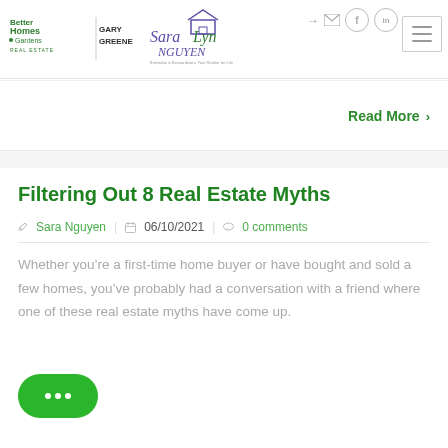[Figure (logo): Better Homes and Gardens Gary Greene Real Estate logo with Sara Lyn Nguyen signature logo]
Read More  >
Filtering Out 8 Real Estate Myths
Sara Nguyen   06/10/2021   0 comments
Whether you’re a first-time home buyer or have bought and sold a few homes, you’ve probably had a conversation with a friend where one of these real estate myths have come up.
[Figure (illustration): Green chat bubble button with ellipsis dots]